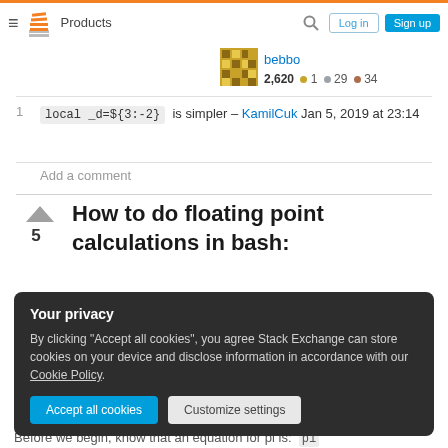Stack Overflow navigation: hamburger menu, logo, Products, search, Log in, Sign up
[Figure (other): User avatar for bebbo - colorful mosaic pattern icon]
bebbo 2,620 • 1 • 29 • 34
1  local _d=${3:-2}  is simpler – KamilCuk Jan 5, 2019 at 23:14
Add a comment
How to do floating point calculations in bash:
5
Your privacy
By clicking "Accept all cookies", you agree Stack Exchange can store cookies on your device and disclose information in accordance with our Cookie Policy.
Accept all cookies   Customize settings
Before we begin, know that an equation for pi is:  p1